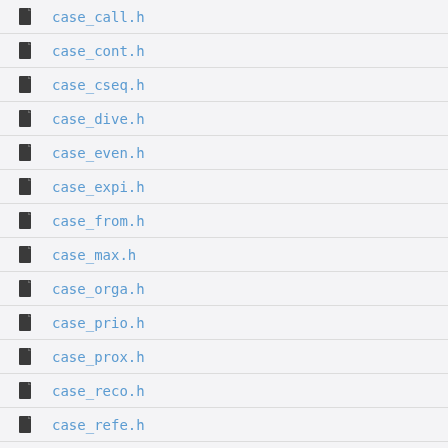case_call.h
case_cont.h
case_cseq.h
case_dive.h
case_even.h
case_expi.h
case_from.h
case_max.h
case_orga.h
case_prio.h
case_prox.h
case_reco.h
case_refe.h